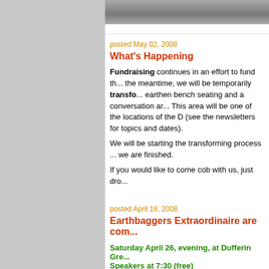[Figure (photo): Partial photograph visible at top of content area]
posted May 02, 2008
What's Happening
Fundraising continues in an effort to fund th... the meantime, we will be temporarily transfo... earthen bench seating and a conversation ar... This area will be one of the locations of the D (see the newsletters for topics and dates).
We will be starting the transforming process ... we are finished.
If you would like to come cob with us, just dro...
posted April 18, 2008
Earthbaggers Extraordinaire are con...
Saturday April 26, evening, at Dufferin Gre... Speakers at 7:30 (free)
See event's poster
From Georgie Donais:
I'm thrilled to announce that earthbaggers extra... Doni Kiffmeyer and Kaki Hunter are coming... next weekend. We have invited them to give us...